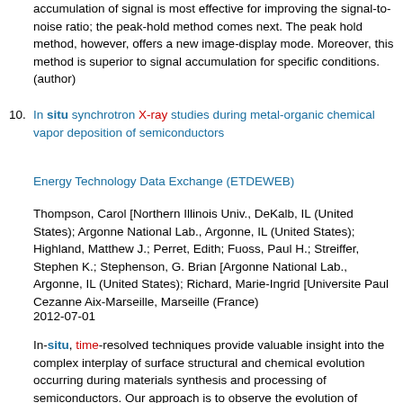accumulation of signal is most effective for improving the signal-to-noise ratio; the peak-hold method comes next. The peak hold method, however, offers a new image-display mode. Moreover, this method is superior to signal accumulation for specific conditions. (author)
10. In situ synchrotron X-ray studies during metal-organic chemical vapor deposition of semiconductors
Energy Technology Data Exchange (ETDEWEB)
Thompson, Carol [Northern Illinois Univ., DeKalb, IL (United States); Argonne National Lab., Argonne, IL (United States); Highland, Matthew J.; Perret, Edith; Fuoss, Paul H.; Streiffer, Stephen K.; Stephenson, G. Brian [Argonne National Lab., Argonne, IL (United States); Richard, Marie-Ingrid [Universite Paul Cezanne Aix-Marseille, Marseille (France)
2012-07-01
In-situ, time-resolved techniques provide valuable insight into the complex interplay of surface structural and chemical evolution occurring during materials synthesis and processing of semiconductors. Our approach is to observe the evolution of